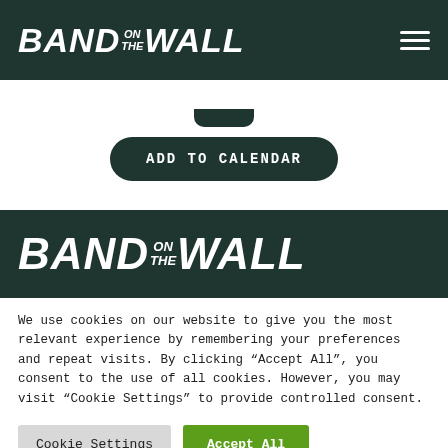BAND ON THE WALL
ADD TO CALENDAR
[Figure (logo): Band on the Wall logo in white on dark green footer bar]
We use cookies on our website to give you the most relevant experience by remembering your preferences and repeat visits. By clicking “Accept All”, you consent to the use of all cookies. However, you may visit “Cookie Settings” to provide controlled consent.
Cookie Settings
Accept All